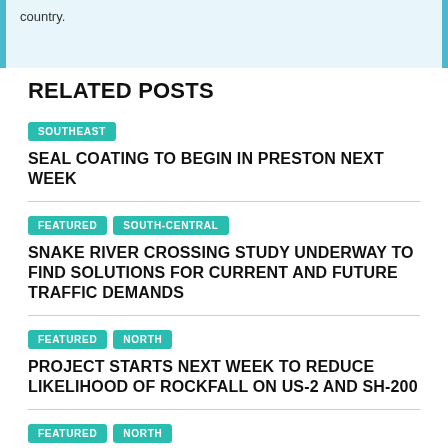country.
RELATED POSTS
SOUTHEAST | SEAL COATING TO BEGIN IN PRESTON NEXT WEEK
FEATURED | SOUTH-CENTRAL | SNAKE RIVER CROSSING STUDY UNDERWAY TO FIND SOLUTIONS FOR CURRENT AND FUTURE TRAFFIC DEMANDS
FEATURED | NORTH | PROJECT STARTS NEXT WEEK TO REDUCE LIKELIHOOD OF ROCKFALL ON US-2 AND SH-200
FEATURED | NORTH | FIRST WIDENING PROJECT BEGINS ON SH-53 NEAR HAUSER